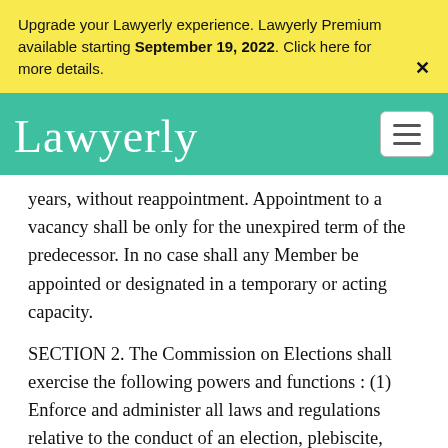Upgrade your Lawyerly experience. Lawyerly Premium available starting September 19, 2022. Click here for more details.
Lawyerly
years, without reappointment. Appointment to a vacancy shall be only for the unexpired term of the predecessor. In no case shall any Member be appointed or designated in a temporary or acting capacity.
SECTION 2. The Commission on Elections shall exercise the following powers and functions : (1) Enforce and administer all laws and regulations relative to the conduct of an election, plebiscite, initiative, referendum, and recall. (2) Exercise exclusive original jurisdiction over all contests relating to the elections,